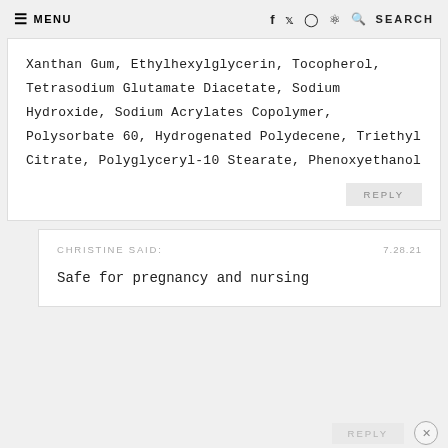≡ MENU    f  𝕥  ◎  ⊕  🔍 SEARCH
Xanthan Gum, Ethylhexylglycerin, Tocopherol, Tetrasodium Glutamate Diacetate, Sodium Hydroxide, Sodium Acrylates Copolymer, Polysorbate 60, Hydrogenated Polydecene, Triethyl Citrate, Polyglyceryl-10 Stearate, Phenoxyethanol
REPLY
CHRISTINE SAID:    7.28.21
Safe for pregnancy and nursing
REPLY